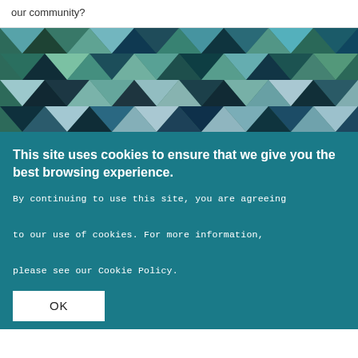our community?
[Figure (photo): Nature/landscape photo displayed through a geometric diamond/hexagon pattern mosaic filter showing forests, lakes, and sky in teal, green, blue, and dark tones.]
This site uses cookies to ensure that we give you the best browsing experience.
By continuing to use this site, you are agreeing to our use of cookies. For more information, please see our Cookie Policy.
OK